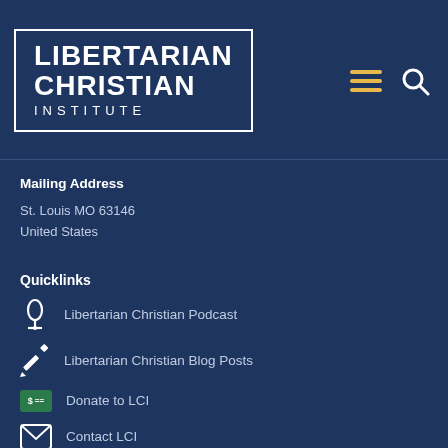[Figure (logo): Libertarian Christian Institute logo: white text on navy blue background with white border rectangle. Text reads LIBERTARIAN CHRISTIAN INSTITUTE in bold uppercase letters.]
[Figure (other): Navigation icons: hamburger menu icon in gold/yellow and search magnifying glass icon in white]
Mailing Address
St. Louis MO 63146
United States
Quicklinks
Libertarian Christian Podcast
Libertarian Christian Blog Posts
Donate to LCI
Contact LCI